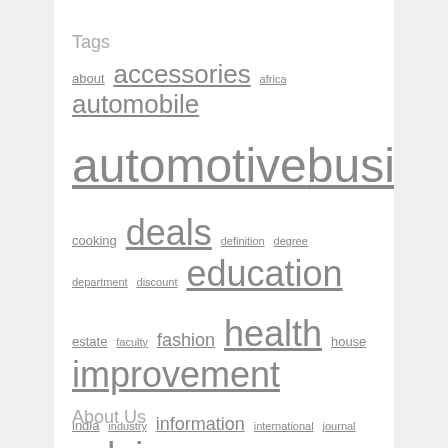Tags
about accessories africa automobile automotive business college companies cooking deals definition degree department discount education estate faculty fashion health house improvement india industry information international journal latest leisure market medical newest online options price program programs repair retailer science service small south store technology travel
About Us